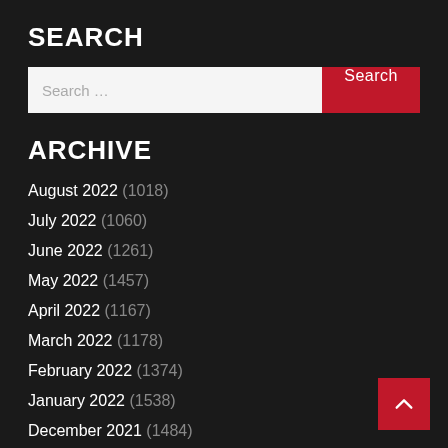SEARCH
[Figure (other): Search bar with text input field and red Search button]
ARCHIVE
August 2022 (1018)
July 2022 (1060)
June 2022 (1261)
May 2022 (1457)
April 2022 (1167)
March 2022 (1178)
February 2022 (1374)
January 2022 (1538)
December 2021 (1484)